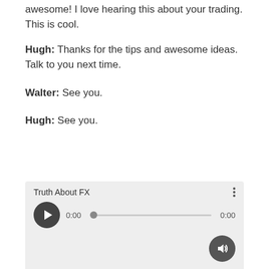awesome! I love hearing this about your trading. This is cool.
Hugh: Thanks for the tips and awesome ideas. Talk to you next time.
Walter: See you.
Hugh: See you.
[Figure (other): Audio player widget showing 'Truth About FX' with play button, progress bar at 0:00, total duration 0:00, and volume button.]